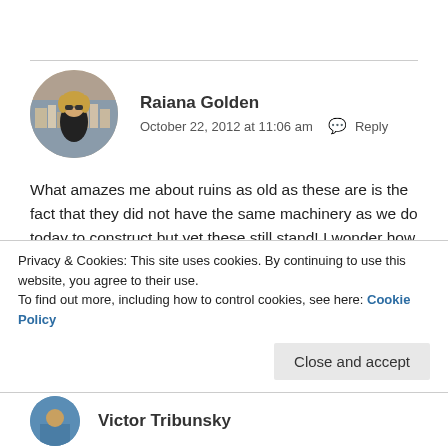Raiana Golden
October 22, 2012 at 11:06 am  Reply
What amazes me about ruins as old as these are is the fact that they did not have the same machinery as we do today to construct but yet these still stand! I wonder how much of our construction of today will stand thousands of years from now and what visitors may ponder. . ...
Privacy & Cookies: This site uses cookies. By continuing to use this website, you agree to their use.
To find out more, including how to control cookies, see here: Cookie Policy
Close and accept
Victor Tribunsky